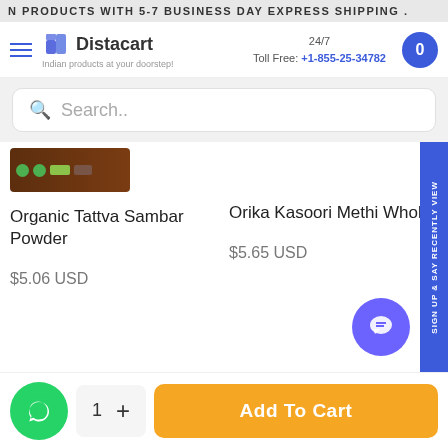N PRODUCTS WITH 5-7 BUSINESS DAY EXPRESS SHIPPING .
[Figure (logo): Distacart logo with tagline 'Indian products at your doorstep']
24/7 Toll Free: +1-855-25-34782
Search..
Organic Tattva Sambar Powder
Orika Kasoori Methi Whole
$5.06 USD
$5.65 USD
sign up & say RECENTLY VIEW
1
Add To Cart